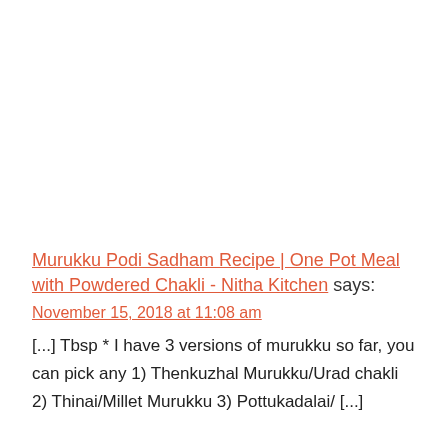Murukku Podi Sadham Recipe | One Pot Meal with Powdered Chakli - Nitha Kitchen says:
November 15, 2018 at 11:08 am
[...] Tbsp * I have 3 versions of murukku so far, you can pick any 1) Thenkuzhal Murukku/Urad chakli 2) Thinai/Millet Murukku 3) Pottukadalai/ [...]